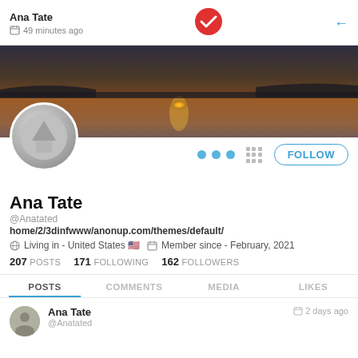Ana Tate — 49 minutes ago
[Figure (screenshot): Social media profile page for Ana Tate showing cover photo of a sunset over water, profile avatar, follow button, stats (207 posts, 171 following, 162 followers), and tabs for Posts, Comments, Media, Likes]
Ana Tate
@Anatated
home/2/3dinfwww/anonup.com/themes/default/
Living in - United States 🇺🇸   Member since - February, 2021
207 POSTS   171 FOLLOWING   162 FOLLOWERS
POSTS   COMMENTS   MEDIA   LIKES
Ana Tate   @Anatated   2 days ago